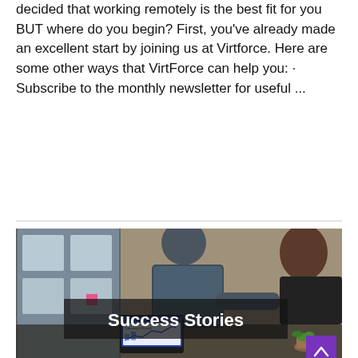decided that working remotely is the best fit for you BUT where do you begin? First, you've already made an excellent start by joining us at Virtforce. Here are some other ways that VirtForce can help you: · Subscribe to the monthly newsletter for useful ...
Read More »
[Figure (photo): Two people shaking hands across a conference table in an office setting. A laptop showing 'Company's Growth' chart is visible. Text overlay reads 'Success Stories'.]